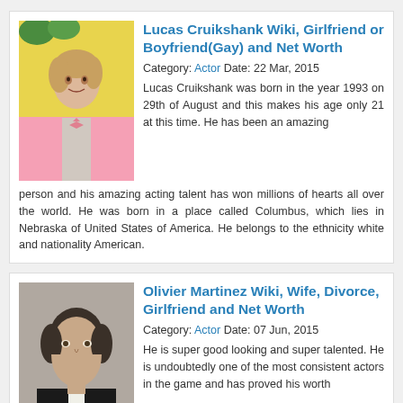Lucas Cruikshank Wiki, Girlfriend or Boyfriend(Gay) and Net Worth
Category: Actor  Date: 22 Mar, 2015
Lucas Cruikshank was born in the year 1993 on 29th of August and this makes his age only 21 at this time. He has been an amazing person and his amazing acting talent has won millions of hearts all over the world. He was born in a place called Columbus, which lies in Nebraska of United States of America. He belongs to the ethnicity white and nationality American.
Olivier Martinez Wiki, Wife, Divorce, Girlfriend and Net Worth
Category: Actor  Date: 07 Jun, 2015
He is super good looking and super talented. He is undoubtedly one of the most consistent actors in the game and has proved his worth in each one of his roles. He is none other than Olivier Martinez